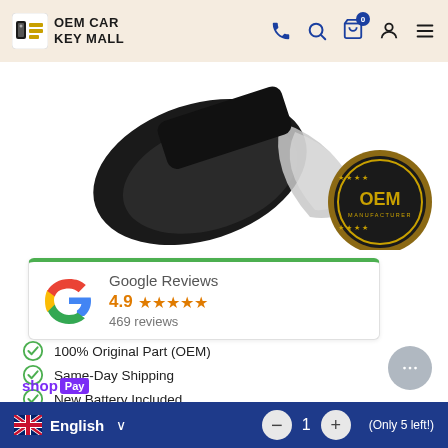OEM CAR KEY MALL
[Figure (photo): Car key fob product image showing black and silver key fob, with OEM manufacturer gold badge seal in upper right]
Google Reviews
4.9 ★★★★★
469 reviews
100% Original Part (OEM)
Same-Day Shipping
New Battery Included
Guaranteed to work with your car
shop Pay
English  –  1  (Only 5 left!)